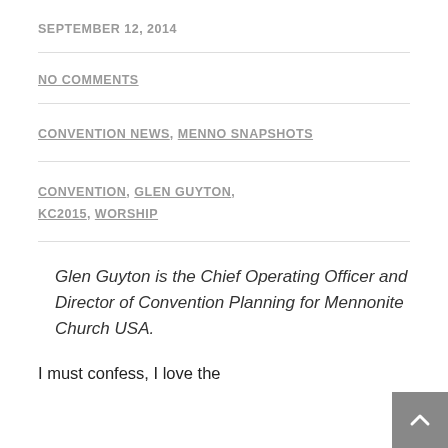SEPTEMBER 12, 2014
NO COMMENTS
CONVENTION NEWS, MENNO SNAPSHOTS
CONVENTION, GLEN GUYTON, KC2015, WORSHIP
Glen Guyton is the Chief Operating Officer and Director of Convention Planning for Mennonite Church USA.
I must confess, I love the